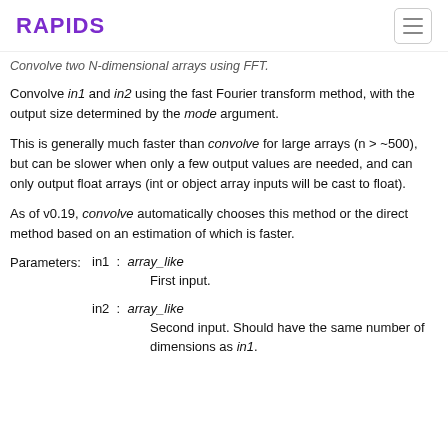RAPIDS
Convolve two N-dimensional arrays using FFT.
Convolve in1 and in2 using the fast Fourier transform method, with the output size determined by the mode argument.
This is generally much faster than convolve for large arrays (n > ~500), but can be slower when only a few output values are needed, and can only output float arrays (int or object array inputs will be cast to float).
As of v0.19, convolve automatically chooses this method or the direct method based on an estimation of which is faster.
Parameters: in1 : array_like
First input.
in2 : array_like
Second input. Should have the same number of dimensions as in1.